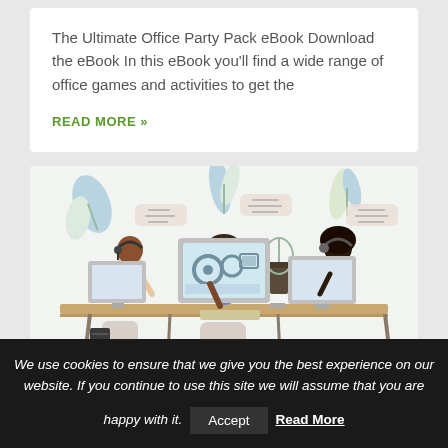The Ultimate Office Party Pack eBook Download the eBook In this eBook you'll find a wide range of office games and activities to get the
READ MORE »
[Figure (illustration): Illustration of three office workers sitting at desks with computers, wearing headsets, with decorative leaf plants and speech bubble icons in the background.]
We use cookies to ensure that we give you the best experience on our website. If you continue to use this site we will assume that you are happy with it. Accept Read More